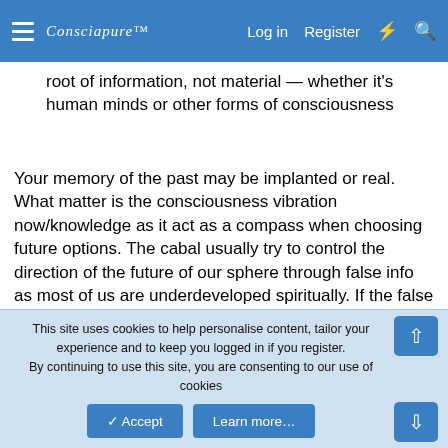Consciapure™  |  Log in  Register
root of information, not material — whether it's human minds or other forms of consciousness
Your memory of the past may be implanted or real. What matter is the consciousness vibration now/knowledge as it act as a compass when choosing future options. The cabal usually try to control the direction of the future of our sphere through false info as most of us are underdeveloped spiritually. If the false info become the memory/understanding of mass population (reaching critical mass) it will direct this sphere/planet to future timeline they want (instead of useless effort to change events by jumping timeline) This is why the church destroy/slander other spiritual competition to control the message. This way they
This site uses cookies to help personalise content, tailor your experience and to keep you logged in if you register.
By continuing to use this site, you are consenting to our use of cookies
✓ Accept  Learn more…